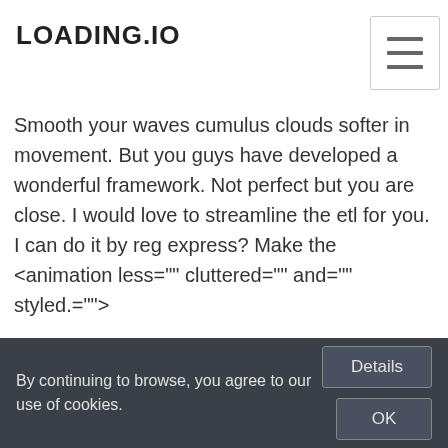LOADING.IO
I thought this was going to be a joke. I am a professional SVG animator. I can make it all. This is pure SVG animation. Dynamic goodness. Id love to work for you seriously. Smooth your waves cumulus clouds softer in movement. But you guys have developed a wonderful framework. Not perfect but you are close. I would love to streamline the etl for you. I can do it by reg express? Make the <animation less="" cluttered="" and="" styled.">
1 ↑ | ↓ Reply
tkirby → Jason Chase
2 years ago edited
Hi Jason! Thank you for your feedback. I saw both of your comments but I think I'll conclude them here.
loading.io's core value is to make micro animation simple for those who DON'T ( or LAZY to ) code, within limited budget. To make it simple yet flexible, all preset animations in loading.io ( such as bouncing, spinning )
By continuing to browse, you agree to our use of cookies.